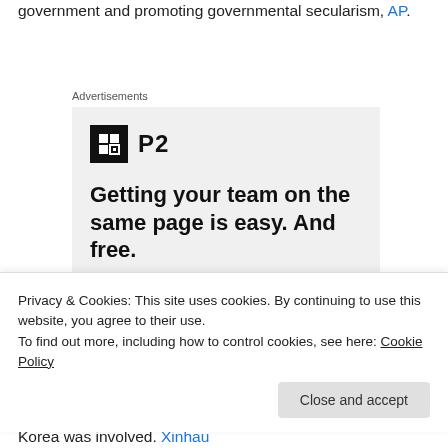government and promoting governmental secularism, AP.
Advertisements
[Figure (other): P2 advertisement banner with logo, headline 'Getting your team on the same page is easy. And free.' and profile photo avatars]
Privacy & Cookies: This site uses cookies. By continuing to use this website, you agree to their use. To find out more, including how to control cookies, see here: Cookie Policy
Korea was involved. Xinhau